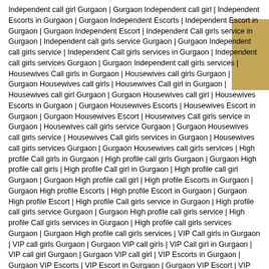Independent call girl Gurgaon | Gurgaon Independent call girl | Independent Escorts in Gurgaon | Gurgaon Independent Escorts | Independent Escort in Gurgaon | Gurgaon Independent Escort | Independent Call girls service in Gurgaon | Independent call girls service Gurgaon | Gurgaon Independent call girls service | Independent Call girls services in Gurgaon | Independent call girls services Gurgaon | Gurgaon Independent call girls services | Housewives Call girls in Gurgaon | Housewives call girls Gurgaon | Gurgaon Housewives call girls | Housewives Call girl in Gurgaon | Housewives call girl Gurgaon | Gurgaon Housewives call girl | Housewives Escorts in Gurgaon | Gurgaon Housewives Escorts | Housewives Escort in Gurgaon | Gurgaon Housewives Escort | Housewives Call girls service in Gurgaon | Housewives call girls service Gurgaon | Gurgaon Housewives call girls service | Housewives Call girls services in Gurgaon | Housewives call girls services Gurgaon | Gurgaon Housewives call girls services | High profile Call girls in Gurgaon | High profile call girls Gurgaon | Gurgaon High profile call girls | High profile Call girl in Gurgaon | High profile call girl Gurgaon | Gurgaon High profile call girl | High profile Escorts in Gurgaon | Gurgaon High profile Escorts | High profile Escort in Gurgaon | Gurgaon High profile Escort | High profile Call girls service in Gurgaon | High profile call girls service Gurgaon | Gurgaon High profile call girls service | High profile Call girls services in Gurgaon | High profile call girls services Gurgaon | Gurgaon High profile call girls services | VIP Call girls in Gurgaon | VIP call girls Gurgaon | Gurgaon VIP call girls | VIP Call girl in Gurgaon | VIP call girl Gurgaon | Gurgaon VIP call girl | VIP Escorts in Gurgaon | Gurgaon VIP Escorts | VIP Escort in Gurgaon | Gurgaon VIP Escort | VIP Call girls service in Gurgaon | VIP call girls service Gurgaon | Gurgaon VIP call girls service | VIP Call girls services in Gurgaon | VIP call girls services Gurgaon | Gurgaon VIP call girls services | College Call girls in Gurgaon | College call girls Gurgaon | Gurgaon College call girls |